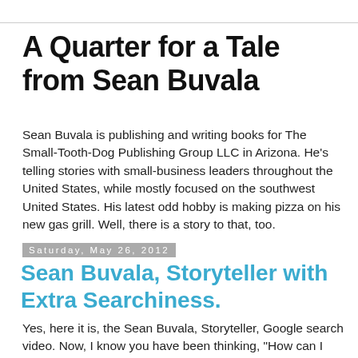A Quarter for a Tale from Sean Buvala
Sean Buvala is publishing and writing books for The Small-Tooth-Dog Publishing Group LLC in Arizona. He's telling stories with small-business leaders throughout the United States, while mostly focused on the southwest United States. His latest odd hobby is making pizza on his new gas grill. Well, there is a story to that, too.
Saturday, May 26, 2012
Sean Buvala, Storyteller with Extra Searchiness.
Yes, here it is, the Sean Buvala, Storyteller, Google search video. Now, I know you have been thinking, "How can I best make a my life just that much easier?' when along comes